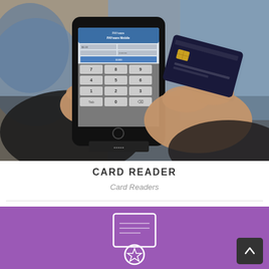[Figure (photo): Hands holding a smartphone with a card reader attachment (PAYware Mobile), displaying a payment keypad on screen, alongside a credit/debit card being swiped.]
CARD READER
Card Readers
[Figure (illustration): Purple background section with an award/ribbon icon (outlined in white) and a back-to-top navigation button in dark grey.]